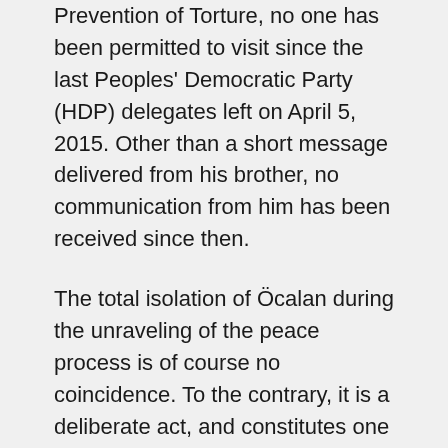Prevention of Torture, no one has been permitted to visit since the last Peoples' Democratic Party (HDP) delegates left on April 5, 2015. Other than a short message delivered from his brother, no communication from him has been received since then.
The total isolation of Öcalan during the unraveling of the peace process is of course no coincidence. To the contrary, it is a deliberate act, and constitutes one of the most dangerous components of the criminal and polarizing policy pursued by the Turkish authorities vis-à-vis the Kurdish Freedom Movement over the past year. This is because Öcalan remains a symbol of the Kurdish nation for many Kurds. Because of his